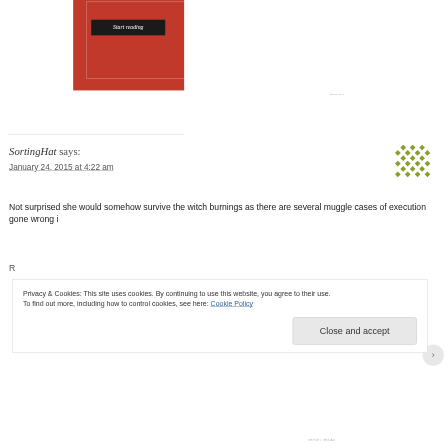[Figure (screenshot): Red advertisement banner with 'Start reading' dark button and inner white border]
REPORT THIS AD
SortingHat says:
January 24, 2015 at 4:22 am
Not surprised she would somehow survive the witch burnings as there are several muggle cases of execution gone wrong i
Privacy & Cookies: This site uses cookies. By continuing to use this website, you agree to their use.
To find out more, including how to control cookies, see here: Cookie Policy
Close and accept